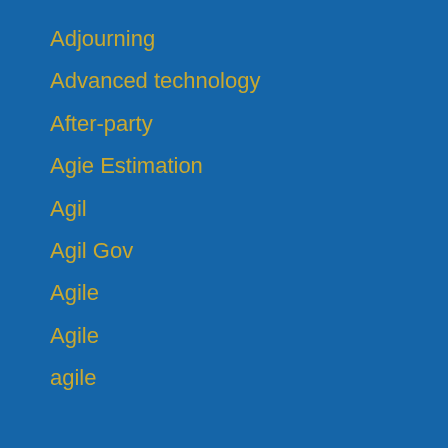Adjourning
Advanced technology
After-party
Agie Estimation
Agil
Agil Gov
Agile
Agile
agile